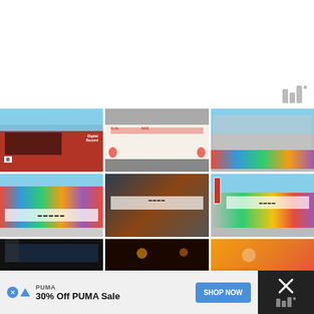[Figure (screenshot): Website screenshot showing a photo gallery grid of street art and mural images. Top area is white with a logo (bars icon with degree symbol) in top right. Three rows of three photos each showing various colorful murals and graffiti artworks on building walls. Bottom has an advertisement banner for PUMA showing '30% Off PUMA Sale' with a 'SHOP NOW' button.]
PUMA
30% Off PUMA Sale
SHOP NOW